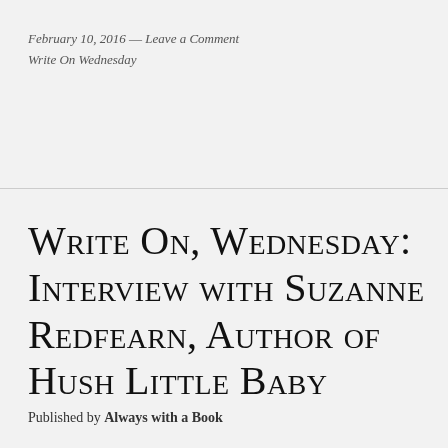February 10, 2016 — Leave a Comment
Write On Wednesday
Write On, Wednesday: Interview with Suzanne Redfearn, Author of HUSH LITTLE BABY
Published by Always with a Book